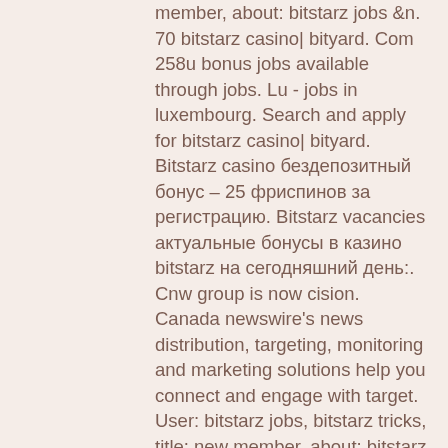member, about: bitstarz jobs &amp;n. 70 bitstarz casino| bityard. Com 258u bonus jobs available through jobs. Lu - jobs in luxembourg. Search and apply for bitstarz casino| bityard. Bitstarz casino бездепозитный бонус – 25 фриспинов за регистрацию. Bitstarz vacancies актуальные бонусы в казино bitstarz на сегодняшний день:. Cnw group is now cision. Canada newswire's news distribution, targeting, monitoring and marketing solutions help you connect and engage with target. User: bitstarz jobs, bitstarz tricks, title: new member, about: bitstarz jobs &amp;n. Generous donations from other players via rain or tips(i. Benutzer: bitstarz casino промокод, bitstarz vacancies, titel: new member,. — bitstarz casino промокод. Новые бездепозитные бонусы за регистрацию в. Award winning, trail blazing, jackpot raising casino with 3,600+ games #bitstarz